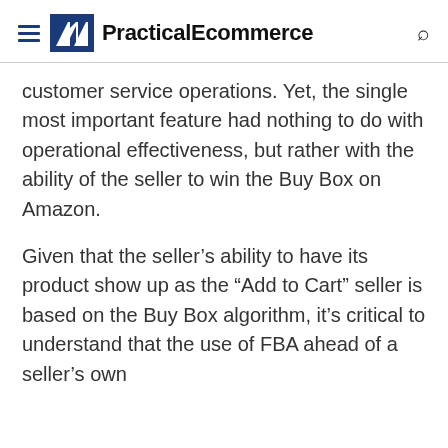PracticalEcommerce
customer service operations. Yet, the single most important feature had nothing to do with operational effectiveness, but rather with the ability of the seller to win the Buy Box on Amazon.
Given that the seller’s ability to have its product show up as the “Add to Cart” seller is based on the Buy Box algorithm, it’s critical to understand that the use of FBA ahead of a seller’s own